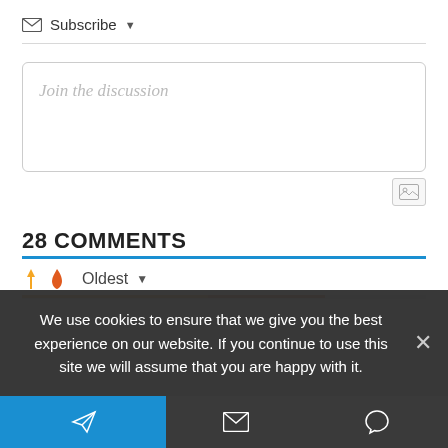Subscribe ▼
Join the discussion
28 COMMENTS
⚡ 🔥 Oldest ▼
We use cookies to ensure that we give you the best experience on our website. If you continue to use this site we will assume that you are happy with it.
[Figure (screenshot): Bottom navigation bar with blue Telegram/send icon button on left, dark envelope icon in center, dark speech bubble icon on right]